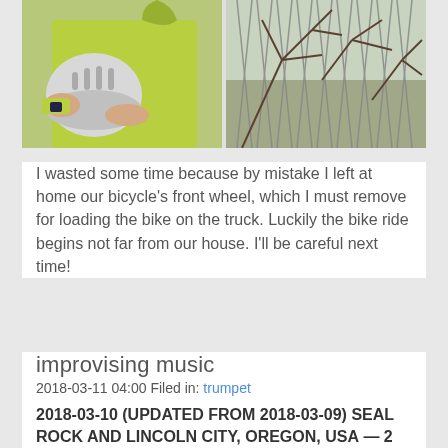[Figure (photo): Two side-by-side photos: left shows a person in a bright yellow-green jacket holding a white bicycle helmet; right shows bare tree branches through a chain-link fence.]
I wasted some time because by mistake I left at home our bicycle's front wheel, which I must remove for loading the bike on the truck. Luckily the bike ride begins not far from our house. I'll be careful next time!
improvising music
2018-03-11 04:00 Filed in: trumpet
2018-03-10 (UPDATED FROM 2018-03-09) SEAL ROCK AND LINCOLN CITY, OREGON, USA — 2 months ago, my trumpet